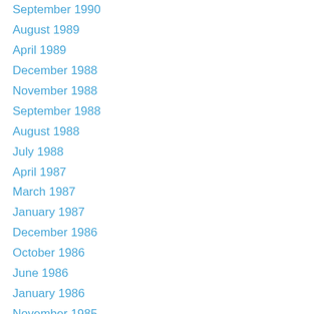September 1990
August 1989
April 1989
December 1988
November 1988
September 1988
August 1988
July 1988
April 1987
March 1987
January 1987
December 1986
October 1986
June 1986
January 1986
November 1985
October 1985
September 1985
June 1985
May 1985